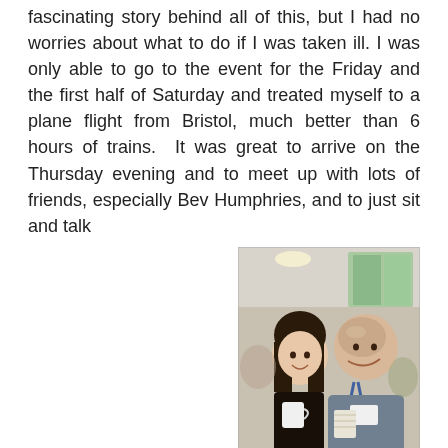fascinating story behind all of this, but I had no worries about what to do if I was taken ill. I was only able to go to the event for the Friday and the first half of Saturday and treated myself to a plane flight from Bristol, much better than 6 hours of trains.  It was great to arrive on the Thursday evening and to meet up with lots of friends, especially Bev Humphries, and to just sit and talk
[Figure (photo): Two people smiling and holding mugs/cups, standing indoors at what appears to be a conference or event setting.]
about books.
As usual there was a fantastic exhibition and a big thanks goes to all the publishers who travelled to put on such a good show.  So many good friends and some lovely new friends in the making.